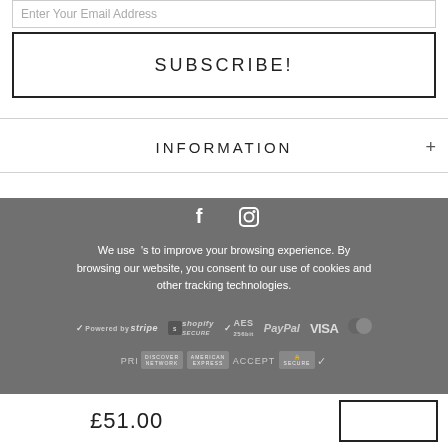Enter Your Email Address
SUBSCRIBE!
INFORMATION +
ORDER +
[Figure (infographic): Footer with Facebook and Instagram social icons, cookie consent text, and payment method badges including Stripe, Shopify Secure, AES 256bit, PayPal, VISA, Mastercard, Discover, American Express, and SSL Secure.]
We use 's to improve your browsing experience. By browsing our website, you consent to our use of cookies and other tracking technologies.
PRIVACY POLICY  ACCEPT ✓
£51.00